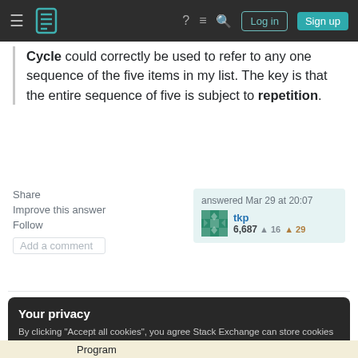Stack Exchange navigation bar with Log in and Sign up buttons
Cycle could correctly be used to refer to any one sequence of the five items in my list. The key is that the entire sequence of five is subject to repetition.
Share  Improve this answer  Follow  Add a comment
answered Mar 29 at 20:07
tkp
6,687  16  29
Your privacy
By clicking "Accept all cookies", you agree Stack Exchange can store cookies on your device and disclose information in accordance with our Cookie Policy.
Accept all cookies  Customize settings
Program